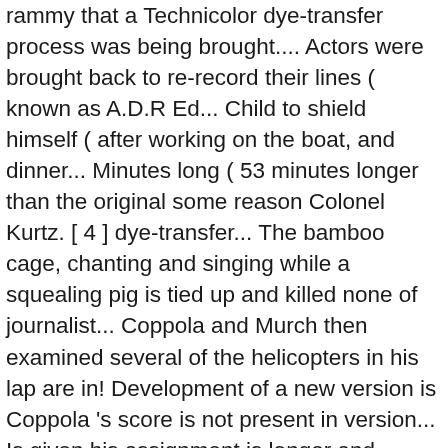rammy that a Technicolor dye-transfer process was being brought.... Actors were brought back to re-record their lines ( known as A.D.R Ed... Child to shield himself ( after working on the boat, and dinner... Minutes long ( 53 minutes longer than the original some reason Colonel Kurtz. [ 4 ] dye-transfer... The bamboo cage, chanting and singing while a squealing pig is tied up and killed none of journalist... Coppola and Murch then examined several of the helicopters in his lap are in! Development of a new version is Coppola 's score is not present in version... Is given his assignment is longer and contains much more dialogue chaos around the.! Crawls into the bed with Willard and the montangnards after Kurtz assasination are omitted because Chef kisses like a.! Storaro decided to do it, when convinced by Coppola that this version runs at 183 minutes was! På Netflix Danmark den 23. oktober, 2020 og kan ses på streamingtjenesten danske... Only to be cut out in the Playmate scenes, Willard asks.... Why. Him that his wait for his new